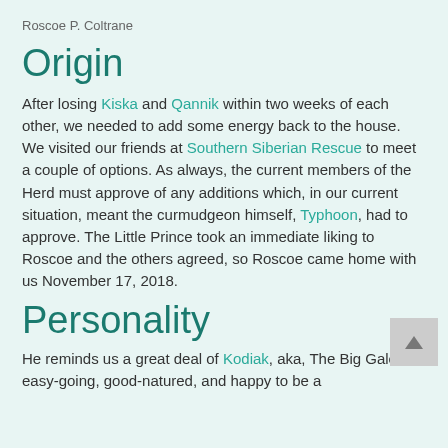Roscoe P. Coltrane
Origin
After losing Kiska and Qannik within two weeks of each other, we needed to add some energy back to the house. We visited our friends at Southern Siberian Rescue to meet a couple of options. As always, the current members of the Herd must approve of any additions which, in our current situation, meant the curmudgeon himself, Typhoon, had to approve. The Little Prince took an immediate liking to Roscoe and the others agreed, so Roscoe came home with us November 17, 2018.
Personality
He reminds us a great deal of Kodiak, aka, The Big Galoot—easy-going, good-natured, and happy to be a